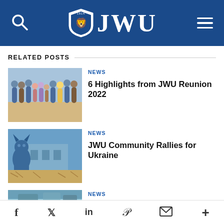JWU — Johnson & Wales University site header with search, logo, and menu
RELATED POSTS
[Figure (photo): Group photo of JWU reunion attendees outdoors on a sunny day]
NEWS
6 Highlights from JWU Reunion 2022
[Figure (photo): Blue JWU wildcat statue in front of a building under a sunny sky]
NEWS
JWU Community Rallies for Ukraine
[Figure (photo): Partial thumbnail of a third news post]
NEWS
Social share icons: Facebook, Twitter, LinkedIn, Pinterest, Email, More